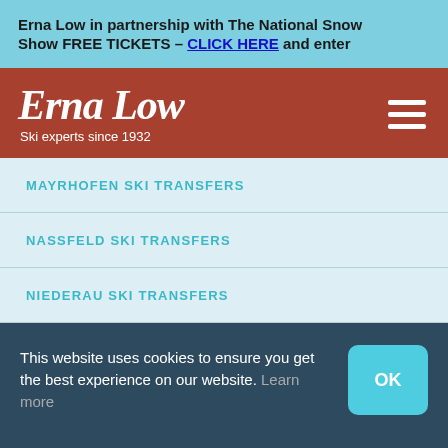Erna Low in partnership with The National Snow Show FREE TICKETS – CLICK HERE and enter
[Figure (logo): Erna Low script logo with tagline 'Ski experts since 1932' on dark red background with hamburger menu icon]
MAYRHOFEN SKI TRANSFERS
NASSFELD SKI TRANSFERS
NIEDERAU SKI TRANSFERS
This website uses cookies to ensure you get the best experience on our website. Learn more